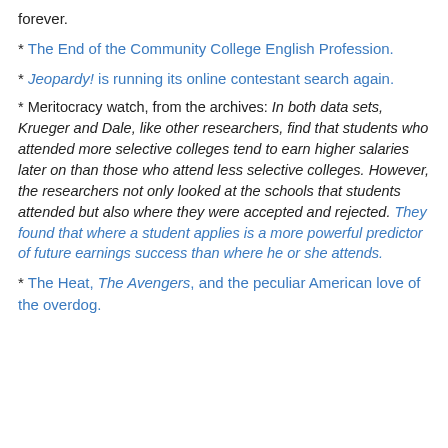forever.
* The End of the Community College English Profession.
* Jeopardy! is running its online contestant search again.
* Meritocracy watch, from the archives: In both data sets, Krueger and Dale, like other researchers, find that students who attended more selective colleges tend to earn higher salaries later on than those who attend less selective colleges. However, the researchers not only looked at the schools that students attended but also where they were accepted and rejected. They found that where a student applies is a more powerful predictor of future earnings success than where he or she attends.
* The Heat, The Avengers, and the peculiar American love of the overdog.